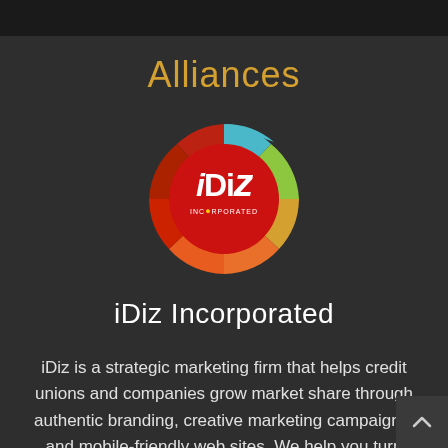Alliances
[Figure (logo): iDiz Incorporated circular logo with red center, multicolor ring (blue, green, yellow, orange), and white iDiz text]
iDiz Incorporated
iDiz is a strategic marketing firm that helps credit unions and companies grow market share through authentic branding, creative marketing campaigns, and mobile-friendly web sites. We help you turn marketing into a